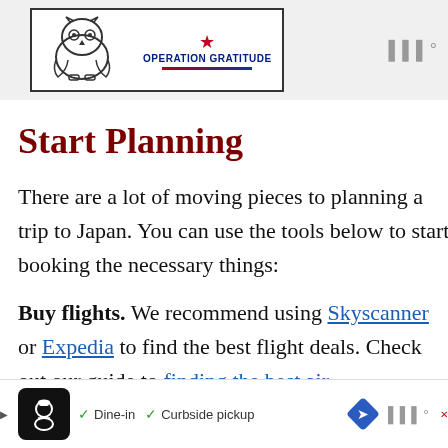[Figure (illustration): Banner with an owl illustration on the left and Operation Gratitude logo (star and flag-themed text) on the right, inside a bordered box. Gray background with menu dots icon on far right.]
Start Planning
There are a lot of moving pieces to planning a trip to Japan. You can use the tools below to start booking the necessary things:
Buy flights. We recommend using Skyscanner or Expedia to find the best flight deals. Check out our guide to finding the best air...